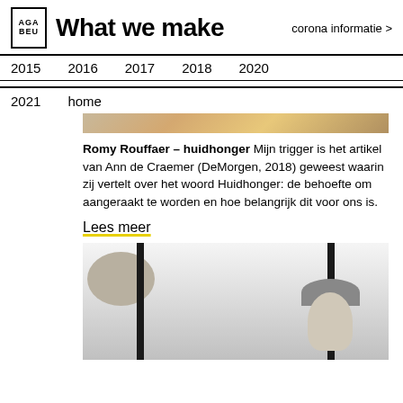What we make
corona informatie >
2015  2016  2017  2018  2020
2021  home
[Figure (photo): Top portion of a sandy/earthy textured background image, partially cropped]
Romy Rouffaer – huidhonger  Mijn trigger is het artikel van Ann de Craemer (DeMorgen, 2018) geweest waarin zij vertelt over het woord Huidhonger: de behoefte om aangeraakt te worden en hoe belangrijk dit voor ons is.
Lees meer
[Figure (photo): Black and white photo showing two people with two vertical black bars/poles visible, one person seen from behind on the left, another person facing camera on the right]